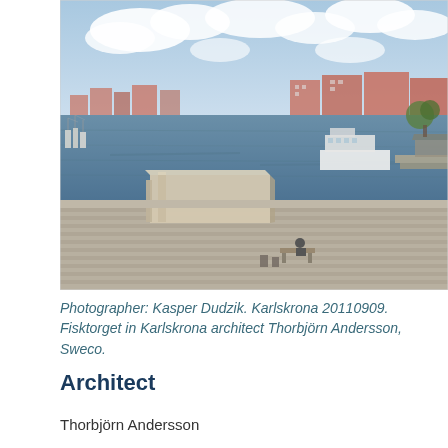[Figure (photo): Aerial view of Fisktorget in Karlskrona, Sweden. A waterfront plaza with stepped stone paving, a rectangular concrete monument/sculpture in the foreground, boats moored in the harbor, and red-brick buildings along the waterfront in the background. Cloudy sky.]
Photographer: Kasper Dudzik. Karlskrona 20110909. Fisktorget in Karlskrona architect Thorbjörn Andersson, Sweco.
Architect
Thorbjörn Andersson
Type of Area